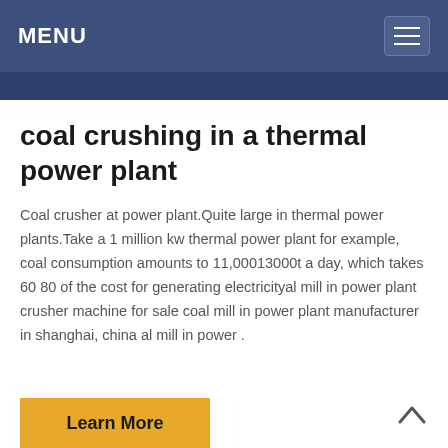MENU
coal crushing in a thermal power plant
Coal crusher at power plant.Quite large in thermal power plants.Take a 1 million kw thermal power plant for example, coal consumption amounts to 11,00013000t a day, which takes 60 80 of the cost for generating electricityal mill in power plant crusher machine for sale coal mill in power plant manufacturer in shanghai, china al mill in power .
Learn More